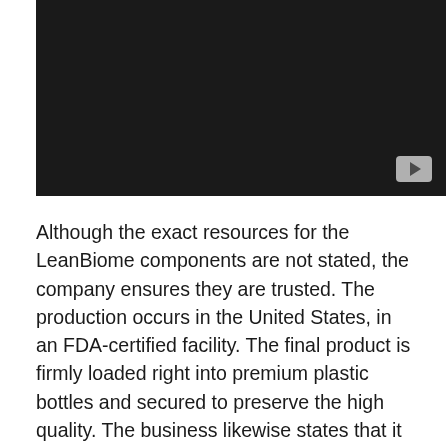[Figure (screenshot): Dark video player with a YouTube play button in the bottom-right corner]
Although the exact resources for the LeanBiome components are not stated, the company ensures they are trusted. The production occurs in the United States, in an FDA-certified facility. The final product is firmly loaded right into premium plastic bottles and secured to preserve the high quality. The business likewise states that it inspects every batch via a third-party screening facility to prevent the risk of contamination.